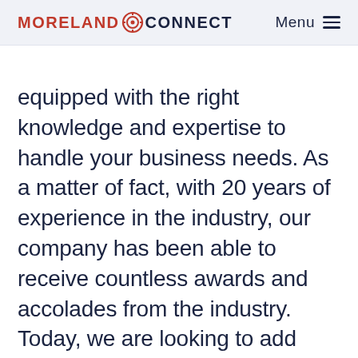MORELAND CONNECT  Menu
equipped with the right knowledge and expertise to handle your business needs. As a matter of fact, with 20 years of experience in the industry, our company has been able to receive countless awards and accolades from the industry. Today, we are looking to add another one under our belt as we introduce our latest Clutch award!